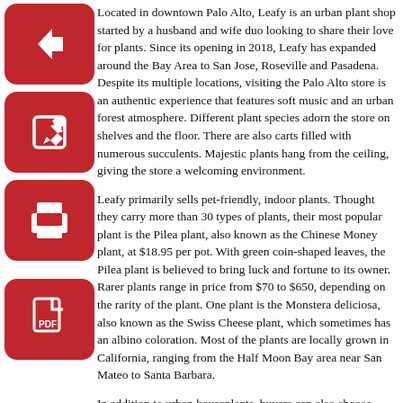Located in downtown Palo Alto, Leafy is an urban plant shop started by a husband and wife duo looking to share their love for plants. Since its opening in 2018, Leafy has expanded around the Bay Area to San Jose, Roseville and Pasadena. Despite its multiple locations, visiting the Palo Alto store is an authentic experience that features soft music and an urban forest atmosphere. Different plant species adorn the store on shelves and the floor. There are also carts filled with numerous succulents. Majestic plants hang from the ceiling, giving the store a welcoming environment.
Leafy primarily sells pet-friendly, indoor plants. Thought they carry more than 30 types of plants, their most popular plant is the Pilea plant, also known as the Chinese Money plant, at $18.95 per pot. With green coin-shaped leaves, the Pilea plant is believed to bring luck and fortune to its owner. Rarer plants range in price from $70 to $650, depending on the rarity of the plant. One plant is the Monstera deliciosa, also known as the Swiss Cheese plant, which sometimes has an albino coloration. Most of the plants are locally grown in California, ranging from the Half Moon Bay area near San Mateo to Santa Barbara.
In addition to urban houseplants, buyers can also choose from a variety of succulent and cactus plants, as well as refined gardening tools and an assortment of pots in different colors, shapes and sizes. Leafy sells es-